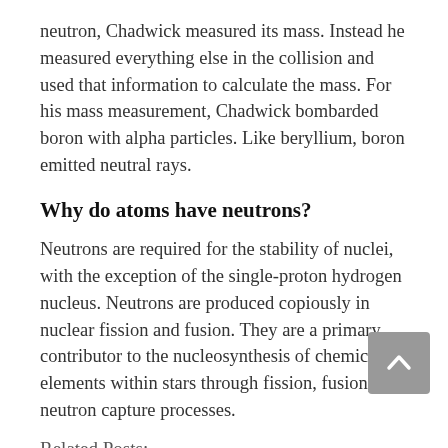neutron, Chadwick measured its mass. Instead he measured everything else in the collision and used that information to calculate the mass. For his mass measurement, Chadwick bombarded boron with alpha particles. Like beryllium, boron emitted neutral rays.
Why do atoms have neutrons?
Neutrons are required for the stability of nuclei, with the exception of the single-proton hydrogen nucleus. Neutrons are produced copiously in nuclear fission and fusion. They are a primary contributor to the nucleosynthesis of chemical elements within stars through fission, fusion, and neutron capture processes.
Related Posts: